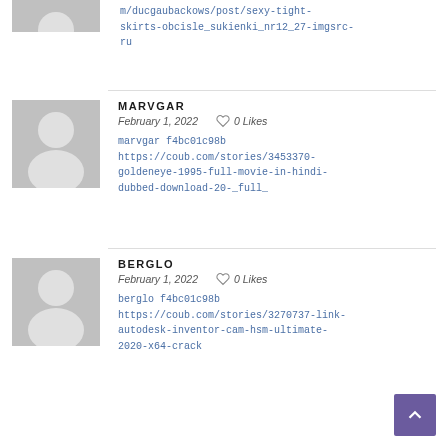m/ducgaubackows/post/sexy-tight-skirts-obcisle_sukienki_nr12_27-imgsrc-ru
MARVGAR
February 1, 2022   0 Likes
marvgar f4bc01c98b https://coub.com/stories/3453370-goldeneye-1995-full-movie-in-hindi-dubbed-download-20-_full_
BERGLO
February 1, 2022   0 Likes
berlgo f4bc01c98b https://coub.com/stories/3270737-link-autodesk-inventor-cam-hsm-ultimate-2020-x64-crack